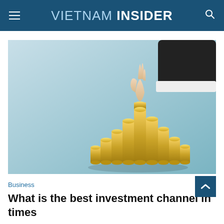VIETNAM INSIDER
[Figure (photo): A hand in a business suit placing a gold coin atop a pyramid-shaped stack of gold coins, against a light blue background, representing investment growth.]
Business
What is the best investment channel in times